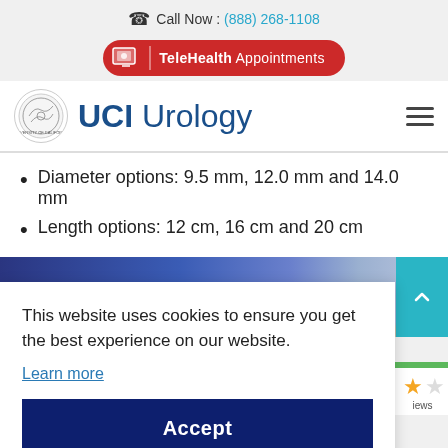Call Now : (888) 268-1108
TeleHealth Appointments
UCI Urology
Diameter options: 9.5 mm, 12.0 mm and 14.0 mm
Length options: 12 cm, 16 cm and 20 cm
[Figure (photo): Blue gradient banner with prosthetic fingers visible on the right side]
This website uses cookies to ensure you get the best experience on our website.
Learn more
Accept